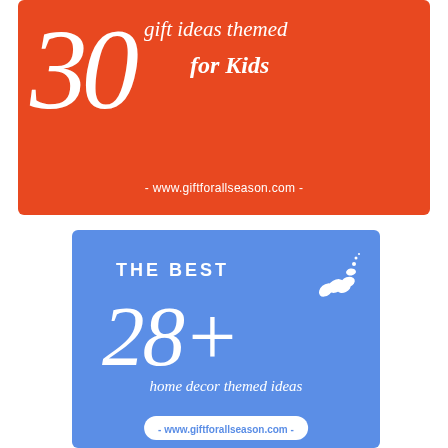[Figure (infographic): Orange banner with large '30' and text 'gift ideas themed for Kids' and URL www.giftforallseason.com]
[Figure (infographic): Blue banner with butterfly motif, text 'The Best 28+ home decor themed ideas' and URL www.giftforallseason.com]